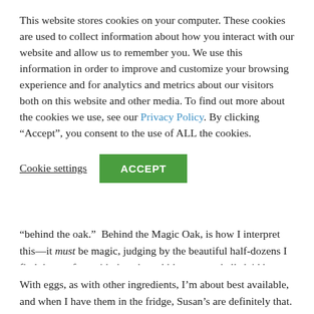This website stores cookies on your computer. These cookies are used to collect information about how you interact with our website and allow us to remember you. We use this information in order to improve and customize your browsing experience and for analytics and metrics about our visitors both on this website and other media. To find out more about the cookies we use, see our Privacy Policy. By clicking “Accept”, you consent to the use of ALL the cookies.
Cookie settings   ACCEPT
“behind the oak.”  Behind the Magic Oak, is how I interpret this—it must be magic, judging by the beautiful half-dozens I find there, often with the ethereal blue-green shells laid by Aracauna hens.
With eggs, as with other ingredients, I’m about best available, and when I have them in the fridge, Susan’s are definitely that. I insist on California eggs, which seems pretty broad